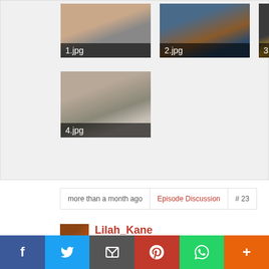[Figure (photo): Gallery of 4 thumbnail images labeled 1.jpg, 2.jpg, 3.jpg, 4.jpg]
more than a month ago
Episode Discussion
# 23
Lilah_Kane
0
Votes
f  Twitter  Email  Pinterest  WhatsApp  +